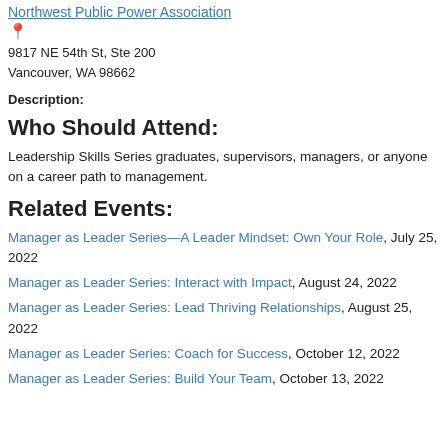Northwest Public Power Association
9817 NE 54th St, Ste 200
Vancouver, WA 98662
Description:
Who Should Attend:
Leadership Skills Series graduates, supervisors, managers, or anyone on a career path to management.
Related Events:
Manager as Leader Series—A Leader Mindset: Own Your Role, July 25, 2022
Manager as Leader Series: Interact with Impact, August 24, 2022
Manager as Leader Series: Lead Thriving Relationships, August 25, 2022
Manager as Leader Series: Coach for Success, October 12, 2022
Manager as Leader Series: Build Your Team, October 13, 2022